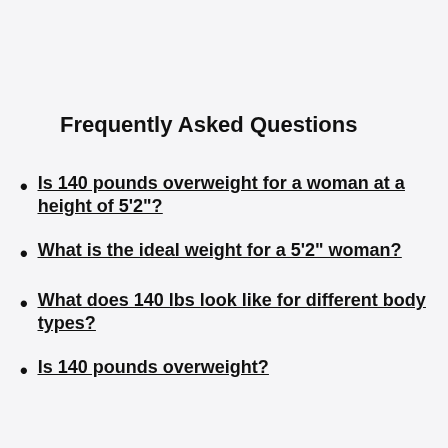Frequently Asked Questions
Is 140 pounds overweight for a woman at a height of 5'2"?
What is the ideal weight for a 5'2" woman?
What does 140 lbs look like for different body types?
Is 140 pounds overweight?